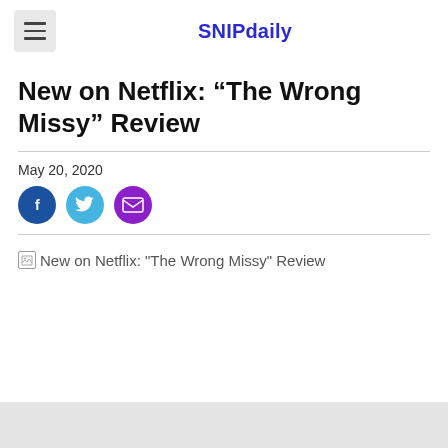SNIPdaily
New on Netflix: “The Wrong Missy” Review
May 20, 2020
[Figure (other): Social share icons: Facebook (blue circle), Twitter (light blue circle), Email (purple circle)]
[Figure (photo): Broken image placeholder: New on Netflix: "The Wrong Missy" Review]